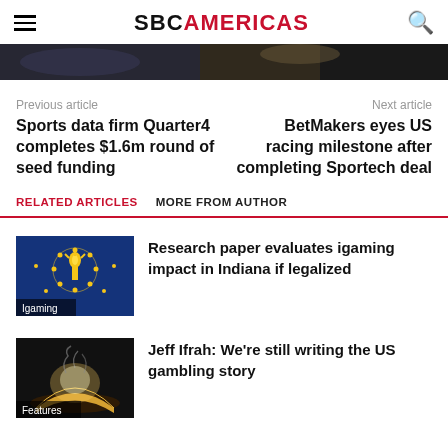SBC AMERICAS
[Figure (photo): Cropped hero image strip showing partial photographs]
Previous article
Next article
Sports data firm Quarter4 completes $1.6m round of seed funding
BetMakers eyes US racing milestone after completing Sportech deal
RELATED ARTICLES   MORE FROM AUTHOR
[Figure (photo): Indiana flag (blue with gold torch and stars) with label 'Igaming']
Research paper evaluates igaming impact in Indiana if legalized
[Figure (photo): Dark image of glowing open book with label 'Features']
Jeff Ifrah: We're still writing the US gambling story